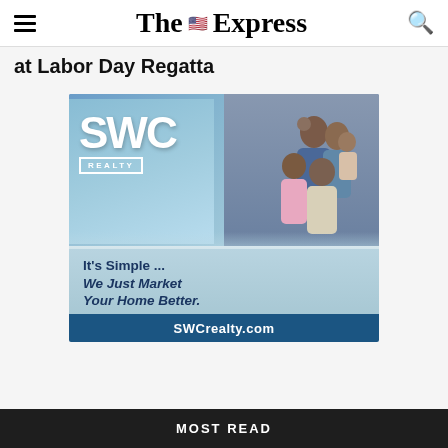The Express
at Labor Day Regatta
[Figure (illustration): SWC Realty advertisement showing a happy family in front of a house. Text reads: SWC REALTY, It's Simple ... We Just Market Your Home Better. SWCRealty.com]
MOST READ